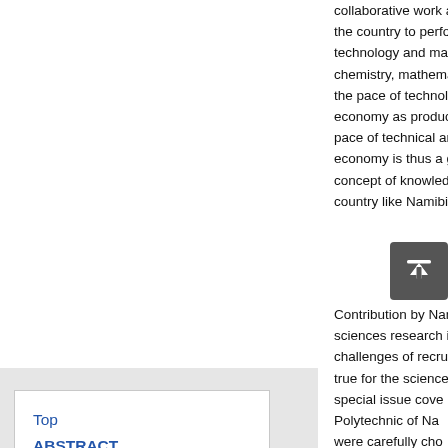collaborative work and co the country to perform a technology and manufact chemistry, mathematics a the pace of technological economy as production a pace of technical and sc economy is thus a greate concept of knowledge eco country like Namibia, whi
Top
ABSTRACT
Introduction
References
Contribution by Namibiam sciences research is incre challenges of recru true for the science special issue cove Polytechnic of Na were carefully cho Plans (NDPs), an numerous national and in